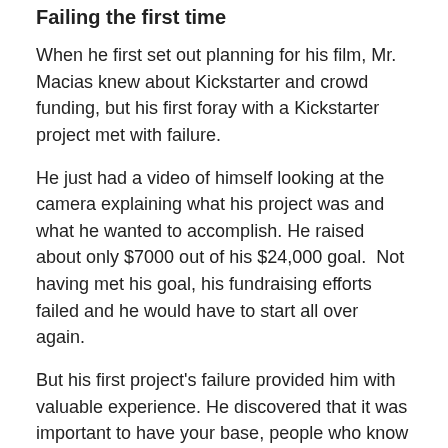Failing the first time
When he first set out planning for his film, Mr. Macias knew about Kickstarter and crowd funding, but his first foray with a Kickstarter project met with failure.
He just had a video of himself looking at the camera explaining what his project was and what he wanted to accomplish. He raised about only $7000 out of his $24,000 goal.  Not having met his goal, his fundraising efforts failed and he would have to start all over again.
But his first project's failure provided him with valuable experience. He discovered that it was important to have your base, people who know about you and your project.  You also want to have a video to show some of the work that you've done.
Generating the conditions and...